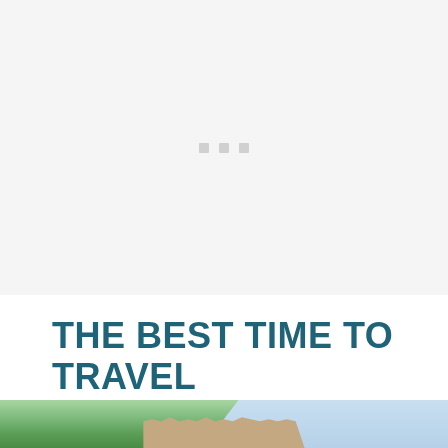[Figure (photo): Large light gray placeholder image area with three small gray square dots centered, representing a loading or placeholder hero image]
THE BEST TIME TO TRAVEL TO CZECH REPUBLIC
[Figure (photo): Partial bottom photograph showing green trees and a building facade with a light blue sky, appearing to be a street scene in Czech Republic]